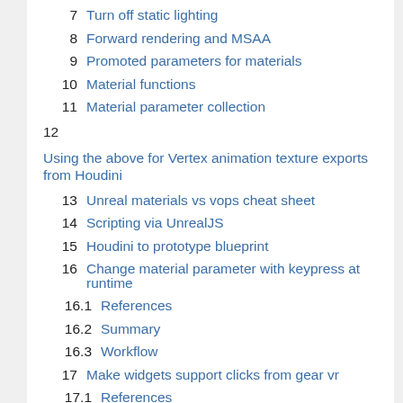7   Turn off static lighting
8   Forward rendering and MSAA
9   Promoted parameters for materials
10  Material functions
11  Material parameter collection
12
Using the above for Vertex animation texture exports from Houdini
13  Unreal materials vs vops cheat sheet
14  Scripting via UnrealJS
15  Houdini to prototype blueprint
16  Change material parameter with keypress at runtime
16.1  References
16.2  Summary
16.3  Workflow
17  Make widgets support clicks from gear vr
17.1  References
17.2  Summary
17.3  Workflow